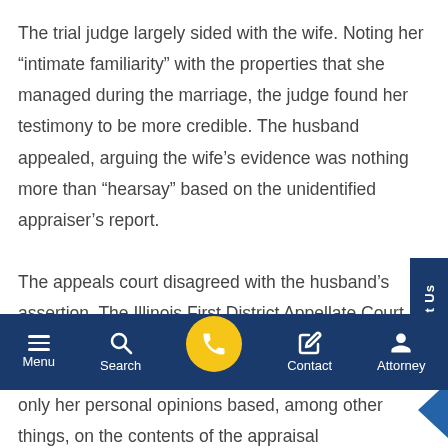The trial judge largely sided with the wife. Noting her “intimate familiarity” with the properties that she managed during the marriage, the judge found her testimony to be more credible. The husband appealed, arguing the wife’s evidence was nothing more than “hearsay” based on the unidentified appraiser’s report.
The appeals court disagreed with the husband’s assertion. The Illinois First District Appellate Court said the wife’s testimony was
only her personal opinions based, among other things, on the contents of the appraisal